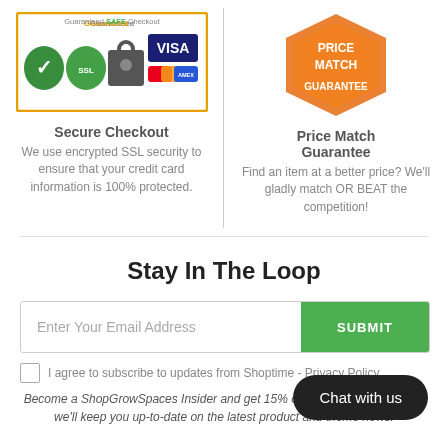[Figure (infographic): Guaranteed SAFE Checkout badge with SSL security icons, payment method logos (Visa, Mastercard, American Express, Discover)]
Secure Checkout
We use encrypted SSL security to ensure that your credit card information is 100% protected.
[Figure (infographic): Price Match Guarantee badge - orange shield/hexagon shape with text PRICE MATCH GUARANTEE]
Price Match Guarantee
Find an item at a better price? We'll gladly match OR BEAT the competition!
Stay In The Loop
Enter Your Email Address
SUBMIT
I agree to subscribe to updates from Shoptime - Privacy Policy
Become a ShopGrowSpaces Insider and get 15% off your order today. Plus we'll keep you up-to-date on the latest product and theme news.